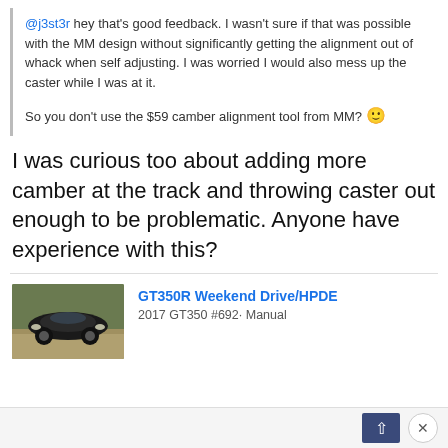@j3st3r hey that's good feedback. I wasn't sure if that was possible with the MM design without significantly getting the alignment out of whack when self adjusting. I was worried I would also mess up the caster while I was at it.

So you don't use the $59 camber alignment tool from MM? 🙂
I was curious too about adding more camber at the track and throwing caster out enough to be problematic. Anyone have experience with this?
[Figure (photo): Black Ford Mustang GT350R on a race track, viewed from the front-left angle]
GT350R Weekend Drive/HPDE
2017 GT350 #692· Manual